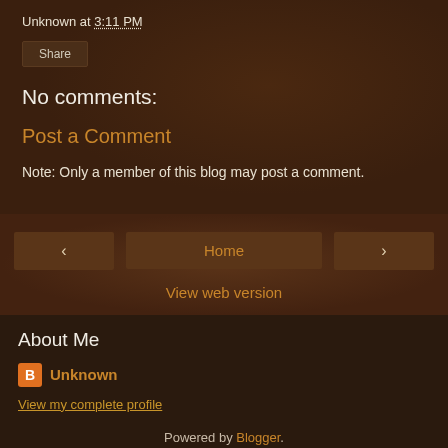Unknown at 3:11 PM
Share
No comments:
Post a Comment
Note: Only a member of this blog may post a comment.
‹
Home
›
View web version
About Me
Unknown
View my complete profile
Powered by Blogger.